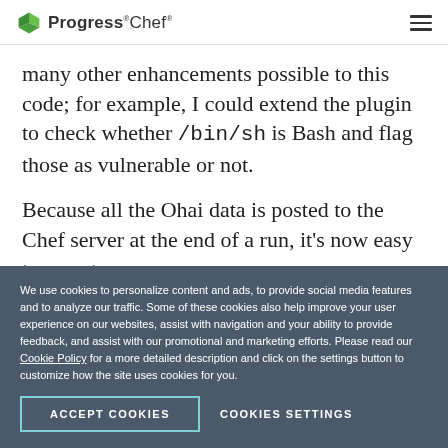Progress Chef
many other enhancements possible to this code; for example, I could extend the plugin to check whether /bin/sh is Bash and flag those as vulnerable or not.
Because all the Ohai data is posted to the Chef server at the end of a run, it's now easy to report on
We use cookies to personalize content and ads, to provide social media features and to analyze our traffic. Some of these cookies also help improve your user experience on our websites, assist with navigation and your ability to provide feedback, and assist with our promotional and marketing efforts. Please read our Cookie Policy for a more detailed description and click on the settings button to customize how the site uses cookies for you.
ACCEPT COOKIES
COOKIES SETTINGS